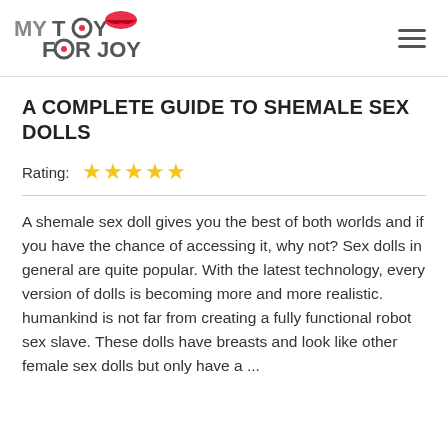MY TOY FOR JOY
A COMPLETE GUIDE TO SHEMALE SEX DOLLS
Rating: ★★★★★
A shemale sex doll gives you the best of both worlds and if you have the chance of accessing it, why not? Sex dolls in general are quite popular. With the latest technology, every version of dolls is becoming more and more realistic. humankind is not far from creating a fully functional robot sex slave. These dolls have breasts and look like other female sex dolls but only have a ...